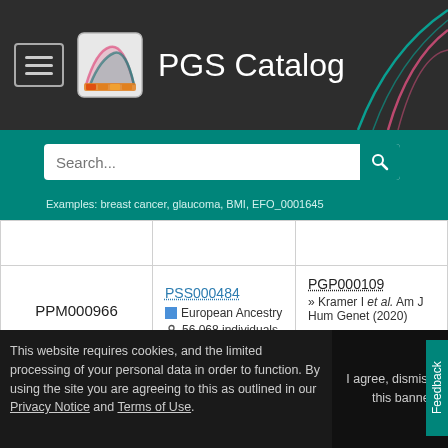PGS Catalog
Search... Examples: breast cancer, glaucoma, BMI, EFO_0001645
| Score ID | Sample Set | Publication |
| --- | --- | --- |
| PPM000966 | PSS000484 | European Ancestry | 56,068 individuals | PGP000109 | Kramer I et al. Am J Hum Genet (2020) | Ext. |
| PPM000967 | PSS000486 | European Ancestry | 56,068 individuals | PGP000109 | Kramer I et al. Am J Hum Genet (2020) | Ext. |
This website requires cookies, and the limited processing of your personal data in order to function. By using the site you are agreeing to this as outlined in our Privacy Notice and Terms of Use.
I agree, dismiss this banner